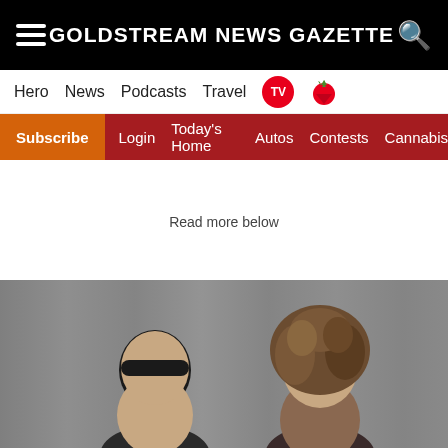GOLDSTREAM NEWS GAZETTE
Hero  News  Podcasts  Travel  TV
Subscribe  Login  Today's Home  Autos  Contests  Cannabis
Read more below
[Figure (photo): Two people in front of a grey curtain background — a man with short dark hair on the left and a woman with curly brown hair on the right.]
[Figure (infographic): WSB advertisement banner reading 'Bikes for everyone' on a dark forest background with WSB logo in gold on green.]